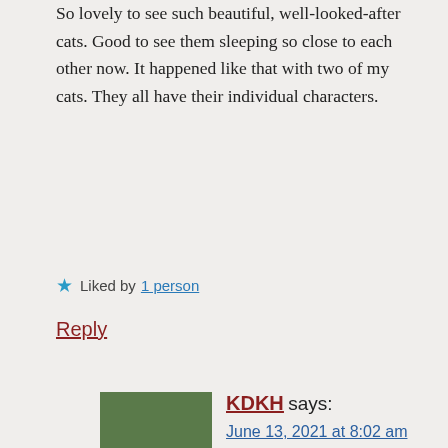So lovely to see such beautiful, well-looked-after cats. Good to see them sleeping so close to each other now. It happened like that with two of my cats. They all have their individual characters.
★ Liked by 1 person
Reply
[Figure (photo): Avatar image of commenter KDKH showing a fish (koi) in water with green plants]
KDKH says:
June 13, 2021 at 8:02 am
We are so relieved that Nami has finally ceased hostilities. Grace never initiated and fights and rarely defended herself. That was hard to watch.